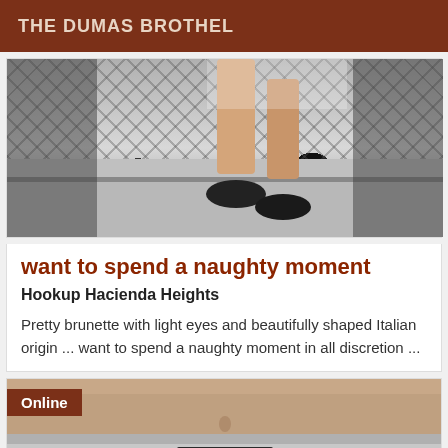THE DUMAS BROTHEL
[Figure (photo): Photo of person's legs and feet wearing black sneakers on a textured surface with chain-link fence in background]
want to spend a naughty moment
Hookup Hacienda Heights
Pretty brunette with light eyes and beautifully shaped Italian origin ... want to spend a naughty moment in all discretion ...
[Figure (photo): Photo of person's torso wearing grey underwear/boxers with a brand label, with Online badge overlay]